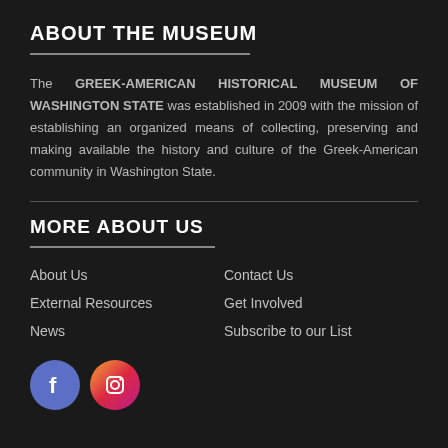ABOUT THE MUSEUM
The GREEK-AMERICAN HISTORICAL MUSEUM OF WASHINGTON STATE was established in 2009 with the mission of establishing an organized means of collecting, preserving and making available the history and culture of the Greek-American community in Washington State.
MORE ABOUT US
About Us
Contact Us
External Resources
Get Involved
News
Subscribe to our List
[Figure (logo): Facebook and Instagram social media icons]